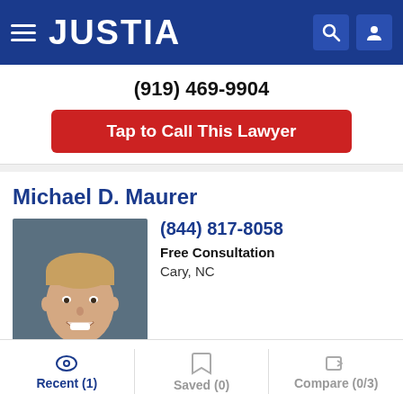JUSTIA
(919) 469-9904
Tap to Call This Lawyer
Michael D. Maurer
[Figure (photo): Headshot photo of Michael D. Maurer, a man in a suit smiling, with PREMIUM badge at the bottom]
(844) 817-8058
Free Consultation
Cary, NC
Website | Call | Email
Timothy G. Fowler
Recent (1) | Saved (0) | Compare (0/3)